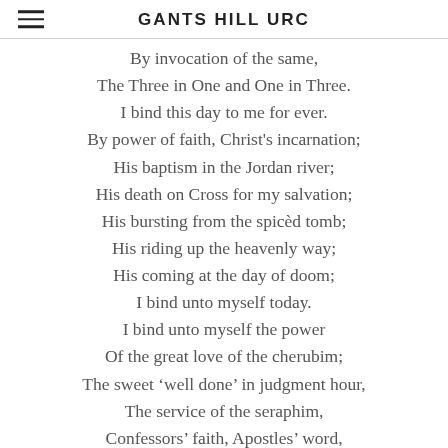GANTS HILL URC
By invocation of the same,
The Three in One and One in Three.
I bind this day to me for ever.
By power of faith, Christ's incarnation;
His baptism in the Jordan river;
His death on Cross for my salvation;
His bursting from the spicèd tomb;
His riding up the heavenly way;
His coming at the day of doom;
I bind unto myself today.
I bind unto myself the power
Of the great love of the cherubim;
The sweet 'well done' in judgment hour,
The service of the seraphim,
Confessors' faith, Apostles' word,
The Patriarchs' prayers, the Prophets' scrolls,
All and …